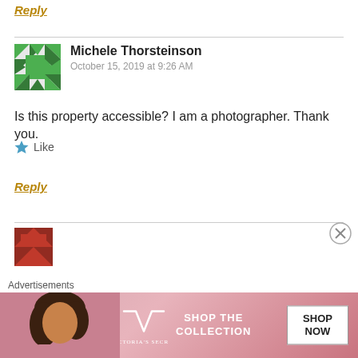Reply
Michele Thorsteinson
October 15, 2019 at 9:26 AM
Is this property accessible? I am a photographer. Thank you.
Like
Reply
[Figure (screenshot): Victoria's Secret advertisement banner with model, VS logo, 'SHOP THE COLLECTION' text, and 'SHOP NOW' button]
Advertisements